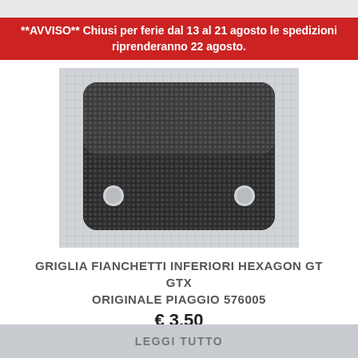**AVVISO** Chiusi per ferie dal 13 al 21 agosto le spedizioni riprenderanno 22 agosto.
[Figure (photo): Photo of a black mesh/grid panel (griglia) for Piaggio Hexagon GT GTX scooter, part number 576005, placed on a graph paper background. The part is a rectangular mesh plate with two circular holes.]
GRIGLIA FIANCHETTI INFERIORI HEXAGON GT GTX ORIGINALE PIAGGIO 576005
€ 3,50
LEGGI TUTTO